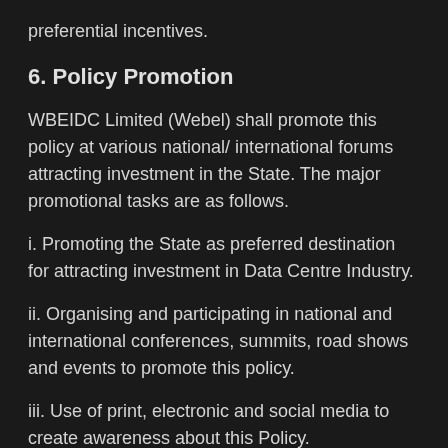preferential incentives.
6. Policy Promotion
WBEIDC Limited (Webel) shall promote this policy at various national/ international forums attracting investment in the State. The major promotional tasks are as follows.
i. Promoting the State as preferred destination for attracting investment in Data Centre Industry.
ii. Organising and participating in national and international conferences, summits, road shows and events to promote this policy.
iii. Use of print, electronic and social media to create awareness about this Policy.
7. Governance